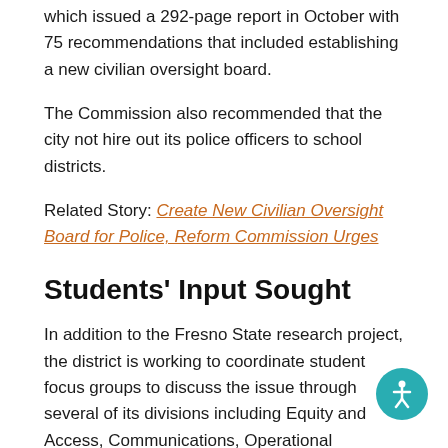which issued a 292-page report in October with 75 recommendations that included establishing a new civilian oversight board.
The Commission also recommended that the city not hire out its police officers to school districts.
Related Story: Create New Civilian Oversight Board for Police, Reform Commission Urges
Students' Input Sought
In addition to the Fresno State research project, the district is working to coordinate student focus groups to discuss the issue through several of its divisions including Equity and Access, Communications, Operational Services, and African American Academic Acceleration.
The district is creating 15 groups of middle and high school students who are expected to experience will arrive in letters